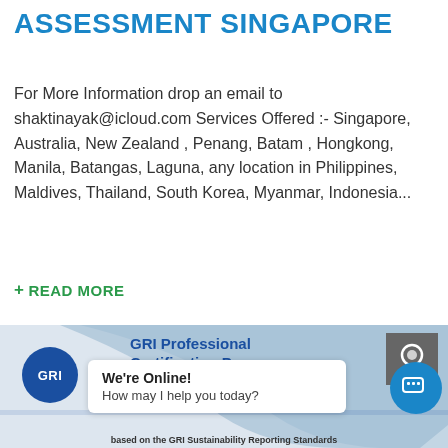ASSESSMENT SINGAPORE
For More Information drop an email to shaktinayak@icloud.com Services Offered :- Singapore, Australia, New Zealand , Penang, Batam , Hongkong, Manila, Batangas, Laguna, any location in Philippines, Maldives, Thailand, South Korea, Myanmar, Indonesia...
+ READ MORE
[Figure (other): GRI Professional Certification Program certificate image with GRI circle logo, decorative blue shapes, badge icon, and text 'Certificate of completion' and 'based on the GRI Sustainability Reporting Standards'. A chat bubble overlay reads 'We're Online! How may I help you today?' with a blue chat button.]